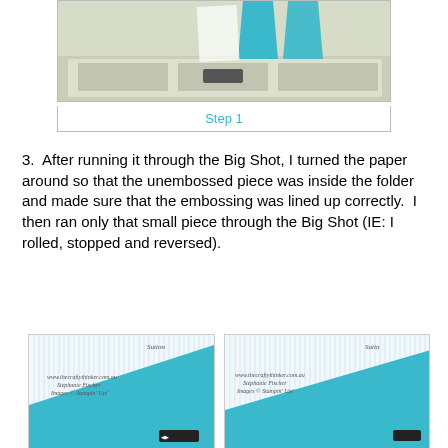[Figure (photo): Top photo showing turquoise/teal paper pieces in a tray or Big Shot machine, partially visible at top of page]
Step 1
3.  After running it through the Big Shot, I turned the paper around so that the unembossed piece was inside the folder and made sure that the embossing was lined up correctly.  I then ran only that small piece through the Big Shot (IE: I rolled, stopped and reversed).
[Figure (photo): Left photo showing white and turquoise/teal embossed paper with vertical stripe pattern inside an embossing folder, with watermark text: www.thecraftythinker.com.au, Stephanie Fischer, Images © Stampin' Up!]
[Figure (photo): Right photo showing white and turquoise/teal embossed paper with vertical stripe pattern inside an embossing folder, with watermark text: www.thecraftythinker.com.au, Stephanie Fischer, Images © Stampin' Up!]